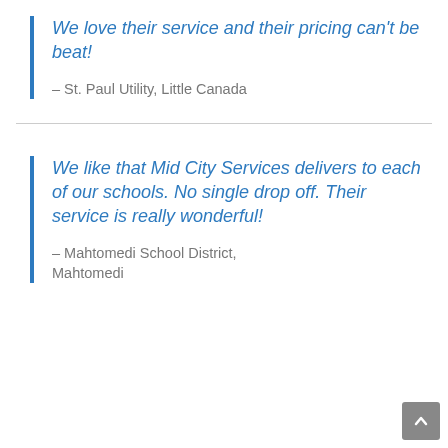We love their service and their pricing can't be beat!
– St. Paul Utility, Little Canada
We like that Mid City Services delivers to each of our schools. No single drop off. Their service is really wonderful!
– Mahtomedi School District, Mahtomedi